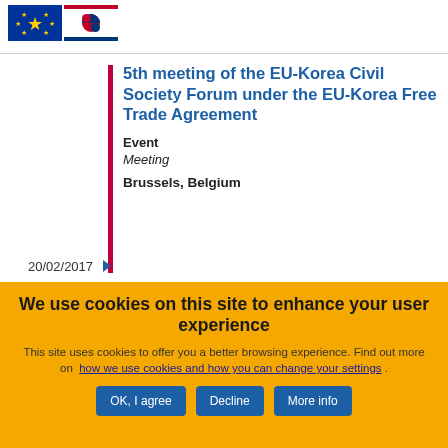[Figure (logo): EU and South Korea flag logos combined]
5th meeting of the EU-Korea Civil Society Forum under the EU-Korea Free Trade Agreement
Event
Meeting
Brussels, Belgium
20/02/2017
We use cookies on this site to enhance your user experience
This site uses cookies to offer you a better browsing experience. Find out more on how we use cookies and how you can change your settings .